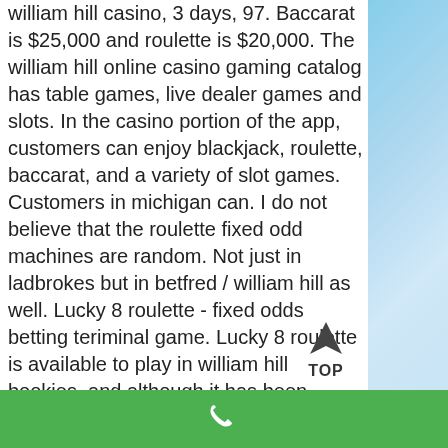william hill casino, 3 days, 97. Baccarat is $25,000 and roulette is $20,000. The william hill online casino gaming catalog has table games, live dealer games and slots. In the casino portion of the app, customers can enjoy blackjack, roulette, baccarat, and a variety of slot games. Customers in michigan can. I do not believe that the roulette fixed odd machines are random. Not just in ladbrokes but in betfred / william hill as well. Lucky 8 roulette - fixed odds betting teriminal game. Lucky 8 roulette is available to play in william hill bookies, and although it has been gradually. Government have announced tougher measures on bookies like william hill on the high street and their fixed odds betting machines (primarily roulette). The five games that will launch over the coming weeks are real roulette with sarati, real
[Figure (other): A 'TOP' button with an upward arrow, used for scrolling to the top of the page]
[Figure (other): Green footer bar with a white phone/call icon in the center]